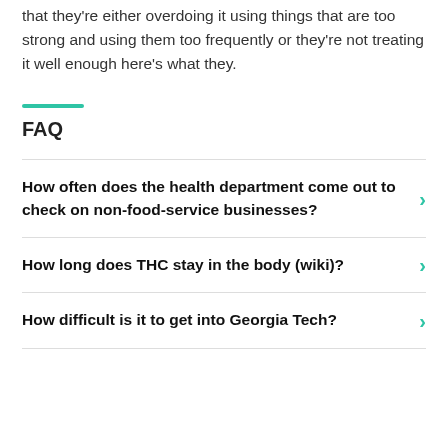that they're either overdoing it using things that are too strong and using them too frequently or they're not treating it well enough here's what they.
FAQ
How often does the health department come out to check on non-food-service businesses?
How long does THC stay in the body (wiki)?
How difficult is it to get into Georgia Tech?